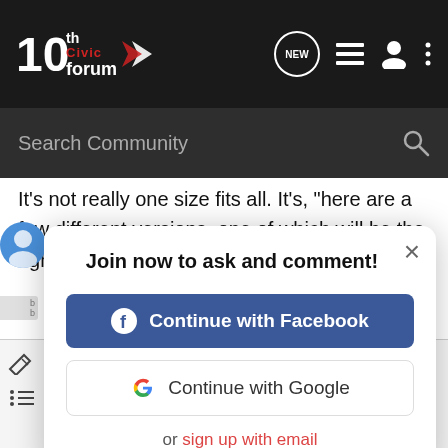[Figure (screenshot): 10th Civic Forum navigation bar with logo, NEW bubble icon, list icon, person icon, and three-dot menu icon on dark background]
[Figure (screenshot): Search Community search bar on dark background with magnifying glass icon]
It's not really one size fits all. It's, "here are a few different versions, one of which will be the right one for you."
[Figure (screenshot): Modal dialog: Join now to ask and comment! with Continue with Facebook button (blue), Continue with Google button (white), and 'or sign up with email' link in red]
[Figure (screenshot): Text editor toolbar with formatting icons: eraser, bold, italic, underline, clock, font size, link, image, camera, emoji, more, align; second row: list, table, undo, redo, save, settings]